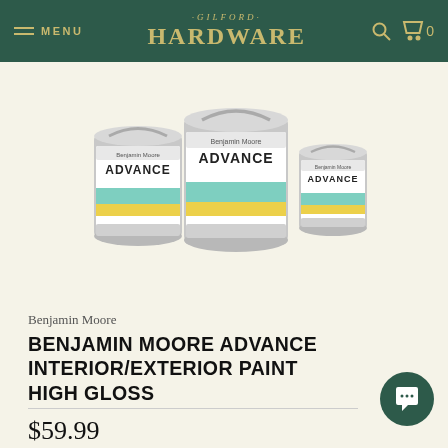MENU · GILFORD HARDWARE · 0
[Figure (photo): Three Benjamin Moore Advance paint cans in different sizes: medium, large (center), and small, all showing the Advance Interior/Exterior Paint label with blue-green and yellow color bands.]
Benjamin Moore
BENJAMIN MOORE ADVANCE INTERIOR/EXTERIOR PAINT HIGH GLOSS
$59.99